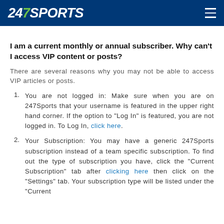247Sports
I am a current monthly or annual subscriber. Why can't I access VIP content or posts?
There are several reasons why you may not be able to access VIP articles or posts.
You are not logged in: Make sure when you are on 247Sports that your username is featured in the upper right hand corner. If the option to "Log In" is featured, you are not logged in. To Log In, click here.
Your Subscription: You may have a generic 247Sports subscription instead of a team specific subscription. To find out the type of subscription you have, click the "Current Subscription" tab after clicking here then click on the "Settings" tab. Your subscription type will be listed under the "Current...